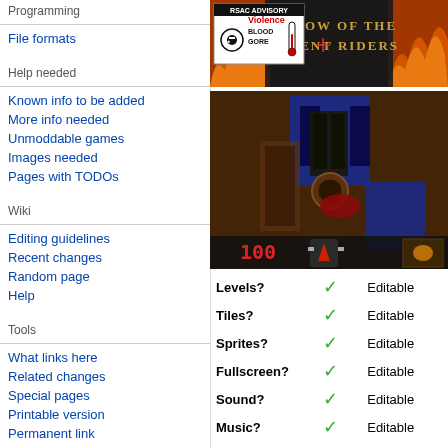Programming
File formats
Help needed
Known info to be added
More info needed
Unmoddable games
Images needed
Pages with TODOs
Wiki
Editing guidelines
Recent changes
Random page
Help
Tools
What links here
Related changes
Special pages
Printable version
Permanent link
Page information
[Figure (screenshot): Shadow of the Serpent Riders game screenshot with RSAC Advisory label showing Violence, Blood, Gore]
[Figure (screenshot): In-game screenshot showing dark dungeon environment from first-person perspective]
| Property | Status |  |
| --- | --- | --- |
| Levels? | ✓ | Editable |
| Tiles? | ✓ | Editable |
| Sprites? | ✓ | Editable |
| Fullscreen? | ✓ | Editable |
| Sound? | ✓ | Editable |
| Music? | ✓ | Editable |
| Text? | ✓ | Editable |